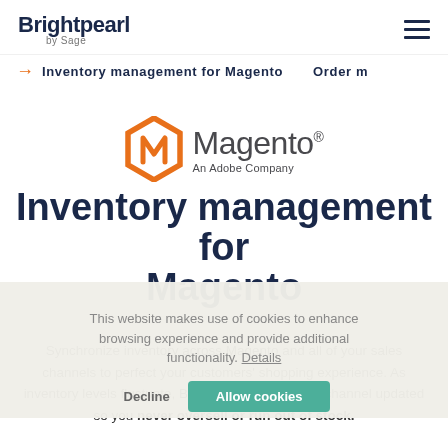Brightpearl by Sage
→ Inventory management for Magento   Order m
[Figure (logo): Magento logo - orange hexagon M icon with 'Magento An Adobe Company' text]
Inventory management for Magento
This website makes use of cookies to enhance browsing experience and provide additional functionality. Details
Synchronize inventory across Magento and all of your sales channels to perfect your customers' shopping experience. As inventory levels fluctuate, Brightpearl keeps every channel updated so you never oversell or run out of stock.